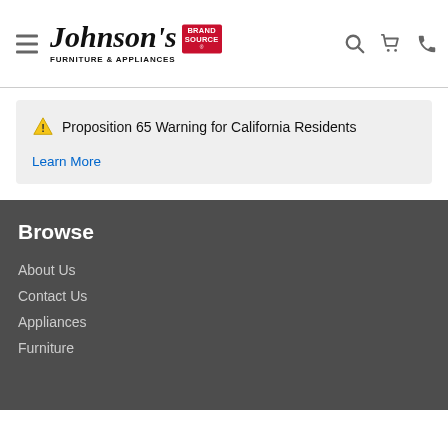Johnson's Furniture & Appliances | Brand Source
⚠ Proposition 65 Warning for California Residents
Learn More
Browse
About Us
Contact Us
Appliances
Furniture